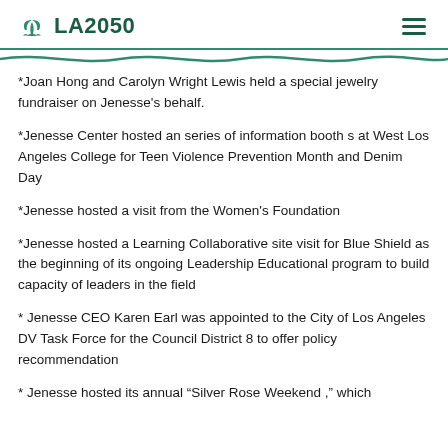LA2050
*Joan Hong and Carolyn Wright Lewis held a special jewelry fundraiser on Jenesse's behalf.
*Jenesse Center hosted an series of information booth s at West Los Angeles College for Teen Violence Prevention Month and Denim Day
*Jenesse hosted a visit from the Women's Foundation
*Jenesse hosted a Learning Collaborative site visit for Blue Shield as the beginning of its ongoing Leadership Educational program to build capacity of leaders in the field
* Jenesse CEO Karen Earl was appointed to the City of Los Angeles DV Task Force for the Council District 8 to offer policy recommendation
* Jenesse hosted its annual “Silver Rose Weekend ,” which